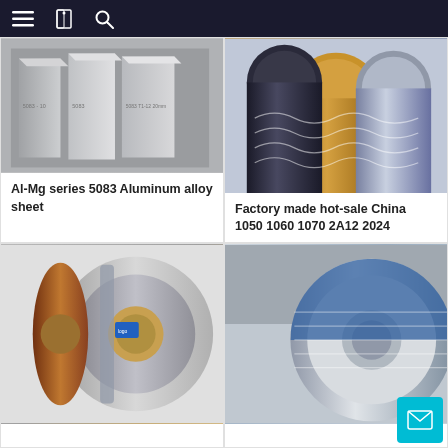Navigation bar with menu, bookmark, and search icons
[Figure (photo): Al-Mg series 5083 aluminum alloy sheet product photo showing three silver aluminum plates standing upright with labels]
Al-Mg series 5083 Aluminum alloy sheet
[Figure (photo): Factory made hot-sale China 1050 1060 1070 2A12 2024 product photo showing gold and dark colored cylindrical aluminum tubes]
Factory made hot-sale China 1050 1060 1070 2A12 2024
[Figure (photo): Aluminum coil roll product photo showing a silver metallic roll with copper-toned ends]
[Figure (photo): Aluminum coil roll product photo showing a white and blue wrapped aluminum coil roll]